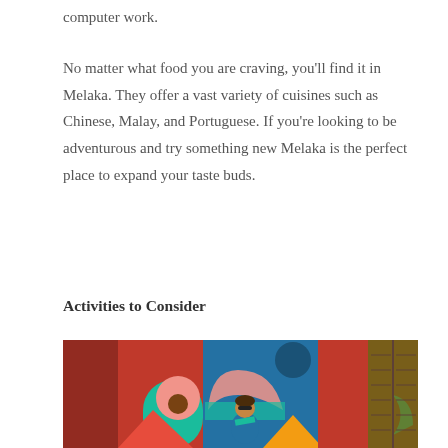computer work.
No matter what food you are craving, you’ll find it in Melaka. They offer a vast variety of cuisines such as Chinese, Malay, and Portuguese. If you’re looking to be adventurous and try something new Melaka is the perfect place to expand your taste buds.
Activities to Consider
[Figure (photo): A woman standing in front of a large colorful mural with bold geometric shapes in red, blue, green, orange, yellow, and pink. A wooden door is visible on the right side.]